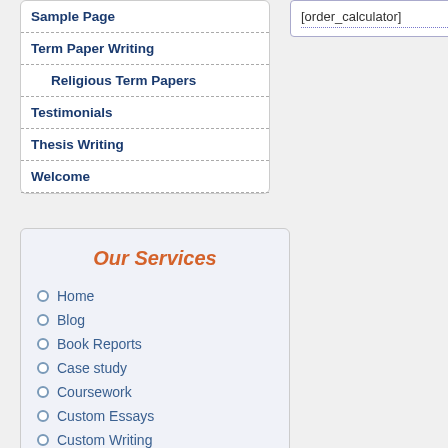Sample Page
Term Paper Writing
Religious Term Papers
Testimonials
Thesis Writing
Welcome
[order_calculator]
Our Services
Home
Blog
Book Reports
Case study
Coursework
Custom Essays
Custom Writing